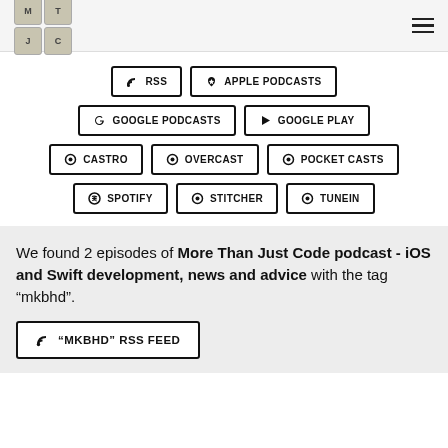More Than Just Code podcast logo and navigation
[Figure (infographic): Podcast subscription buttons: RSS, Apple Podcasts, Google Podcasts, Google Play, Castro, Overcast, Pocket Casts, Spotify, Stitcher, TuneIn]
We found 2 episodes of More Than Just Code podcast - iOS and Swift development, news and advice with the tag “mkbhd”.
“MKBHD” RSS FEED